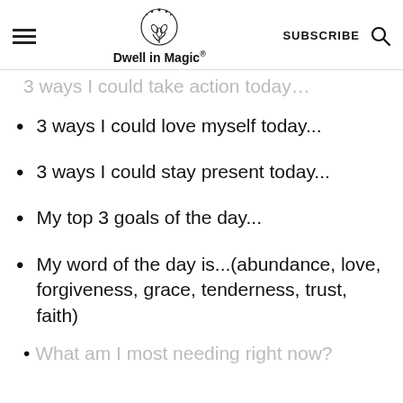Dwell in Magic®
3 ways I could take action today…
3 ways I could love myself today...
3 ways I could stay present today...
My top 3 goals of the day...
My word of the day is...(abundance, love, forgiveness, grace, tenderness, trust, faith)
What am I most needing right now?